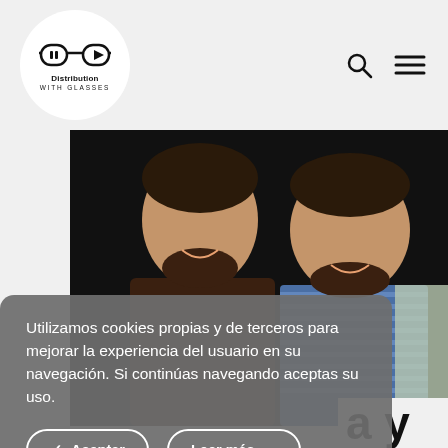[Figure (logo): Distribution With Glasses logo — glasses icon in a white circle with text 'Distribution WITH GLASSES' below]
[Figure (photo): Two bearded men smiling against a dark background]
Utilizamos cookies propias y de terceros para mejorar la experiencia del usuario en su navegación. Si continúas navegando aceptas su uso.
✓  Aceptar
Leer más  →
a y